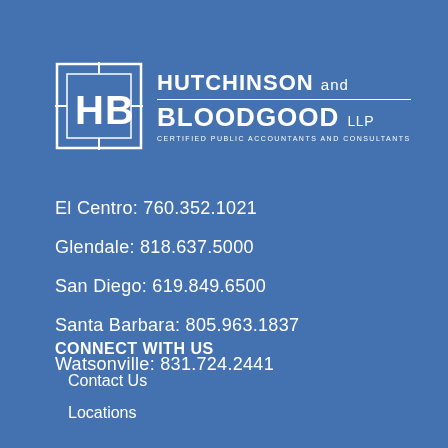[Figure (logo): Hutchinson and Bloodgood LLP logo with HB monogram in a square frame, company name and tagline 'Certified Public Accountants and Consultants']
El Centro: 760.352.1021
Glendale: 818.637.5000
San Diego: 619.849.6500
Santa Barbara: 805.963.1837
Watsonville: 831.724.2441
CONNECT WITH US
Contact Us
Locations